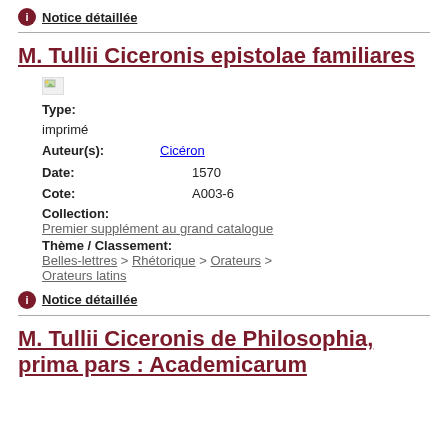ℹ Notice détaillée
M. Tullii Ciceronis epistolae familiares
Type: imprimé
Auteur(s): Cicéron
Date: 1570
Cote: A003-6
Collection: Premier supplément au grand catalogue
Thème / Classement: Belles-lettres > Rhétorique > Orateurs > Orateurs latins
ℹ Notice détaillée
M. Tullii Ciceronis de Philosophia, prima pars : Academicarum